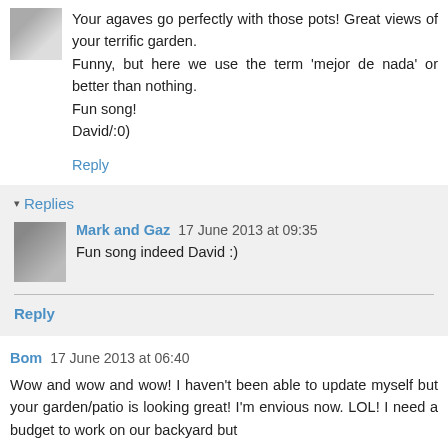Your agaves go perfectly with those pots! Great views of your terrific garden.
Funny, but here we use the term 'mejor de nada' or better than nothing.
Fun song!
David/:0)
Reply
Replies
Mark and Gaz 17 June 2013 at 09:35
Fun song indeed David :)
Reply
Bom 17 June 2013 at 06:40
Wow and wow and wow! I haven't been able to update myself but your garden/patio is looking great! I'm envious now. LOL! I need a budget to work on our backyard but